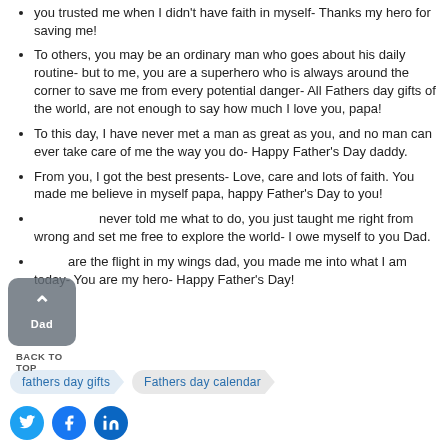You have always been there for me, you always had my back and you trusted me when I didn't have faith in myself- Thanks my hero for saving me!
To others, you may be an ordinary man who goes about his daily routine- but to me, you are a superhero who is always around the corner to save me from every potential danger- All Fathers day gifts of the world, are not enough to say how much I love you, papa!
To this day, I have never met a man as great as you, and no man can ever take care of me the way you do- Happy Father's Day daddy.
From you, I got the best presents- Love, care and lots of faith. You made me believe in myself papa, happy Father's Day to you!
You never told me what to do, you just taught me right from wrong and set me free to explore the world- I owe myself to you Dad.
You are the flight in my wings dad, you made me into what I am today- You are my hero- Happy Father's Day!
[Figure (other): Back to top button with upward arrow chevron and 'Dad' label, grey rounded rectangle]
BACK TO TOP
fathers day gifts   Fathers day calendar
[Figure (other): Three social media icons: Twitter (bird), Facebook (f), LinkedIn (in), all in teal/blue circles]